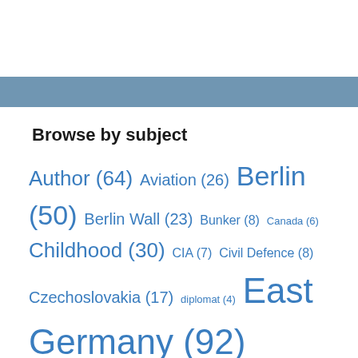Browse by subject
Author (64) Aviation (26) Berlin (50) Berlin Wall (23) Bunker (8) Canada (6) Childhood (30) CIA (7) Civil Defence (8) Czechoslovakia (17) diplomat (4) East Germany (92) Espionage (41) Eyewitness (185) Hungary (6) Intelligence (4) journalist (15) KGB (15) Military (96) Military Liaison Missions (9)